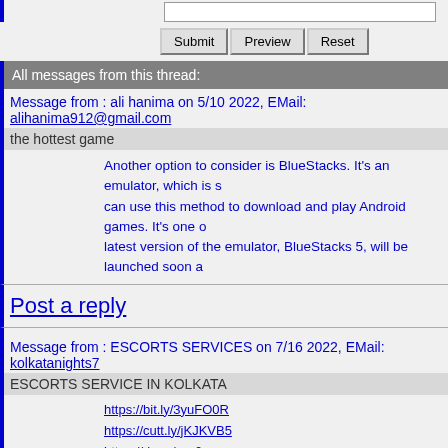[input box area]
Submit | Preview | Reset
All messages from this thread:
Message from : ali hanima on 5/10 2022, EMail: alihanima912@gmail.com
the hottest game
Another option to consider is BlueStacks. It's an emulator, which is s... can use this method to download and play Android games. It's one o... latest version of the emulator, BlueStacks 5, will be launched soon a...
Post a reply
Message from : ESCORTS SERVICES on 7/16 2022, EMail: kolkatanights7...
ESCORTS SERVICE IN KOLKATA
https://bit.ly/3yuFO0R
https://cutt.ly/jKJKVB5
https://rb.gy/yss0np
https://t.ly/V3Pi
https://urlzs.com/tgykr
https://rb.gy/yss0np
https://kolkatanight.com/
https://kolkatanight.com/escorts-location/
https://kolkatanight.com/park-street-escorts/
https://kolkatanight.com/dharamtala-escorts/
https://kolkatanight.com/salt-lake-escorts-service/